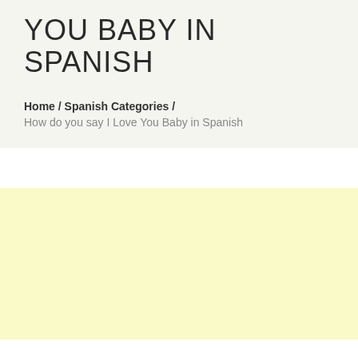YOU BABY IN SPANISH
Home / Spanish Categories / How do you say I Love You Baby in Spanish
[Figure (other): Yellow/cream colored advertisement block]